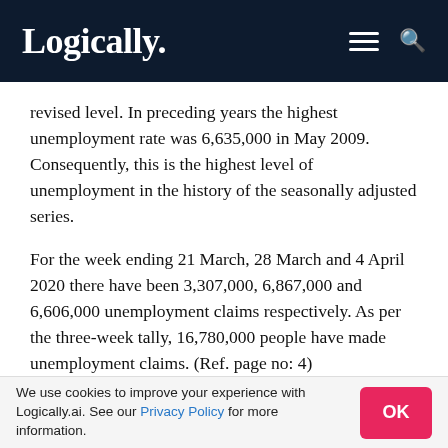Logically.
revised level. In preceding years the highest unemployment rate was 6,635,000 in May 2009. Consequently, this is the highest level of unemployment in the history of the seasonally adjusted series.
For the week ending 21 March, 28 March and 4 April 2020 there have been 3,307,000, 6,867,000 and 6,606,000 unemployment claims respectively. As per the three-week tally, 16,780,000 people have made unemployment claims. (Ref. page no: 4)
According to Labor Statistics, the unemployment
We use cookies to improve your experience with Logically.ai. See our Privacy Policy for more information.